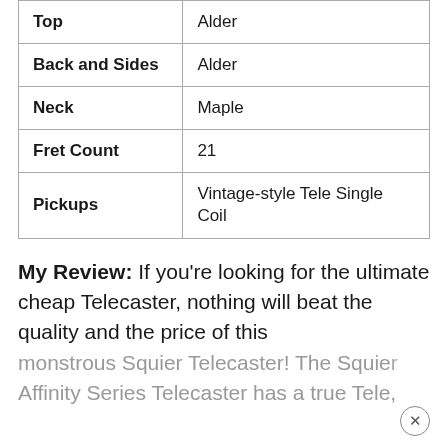| Feature | Value |
| --- | --- |
| Top | Alder |
| Back and Sides | Alder |
| Neck | Maple |
| Fret Count | 21 |
| Pickups | Vintage-style Tele Single Coil |
My Review: If you're looking for the ultimate cheap Telecaster, nothing will beat the quality and the price of this monstrous Squier Telecaster! The Squier Affinity Series Telecaster has a true Tele,